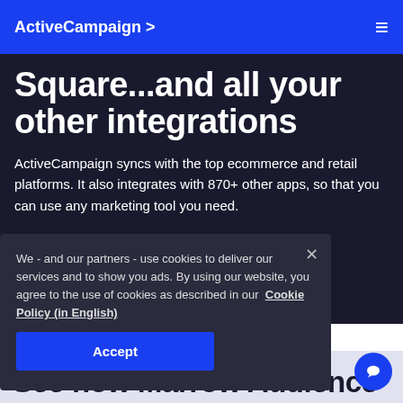ActiveCampaign >
Square...and all your other integrations
ActiveCampaign syncs with the top ecommerce and retail platforms. It also integrates with 870+ other apps, so that you can use any marketing tool you need.
We - and our partners - use cookies to deliver our services and to show you ads. By using our website, you agree to the use of cookies as described in our Cookie Policy (in English)
Accept
See how Marrow Audience